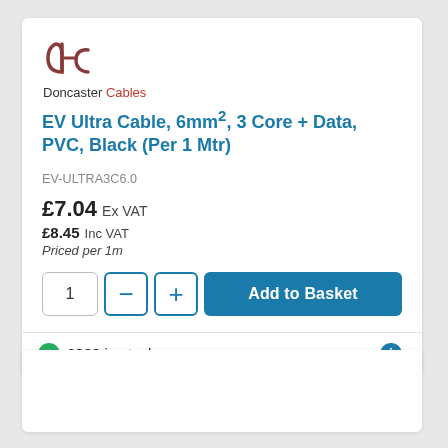[Figure (logo): Doncaster Cables logo — stylized 'dc' monogram in dark red above the text 'Doncaster Cables' where 'Cables' is in red]
EV Ultra Cable, 6mm², 3 Core + Data, PVC, Black (Per 1 Mtr)
EV-ULTRA3C6.0
£7.04 Ex VAT
£8.45 Inc VAT
Priced per 1m
1 — + Add to Basket
6989 in stock